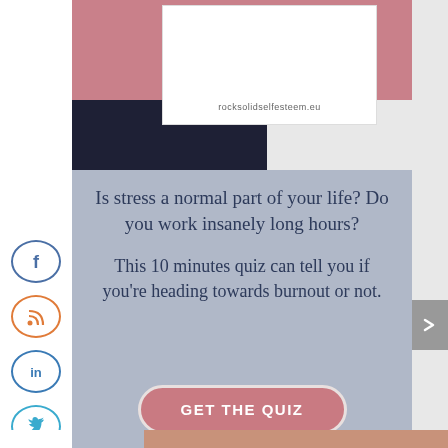[Figure (screenshot): Website screenshot showing rocksolidselfesteem.eu URL on white card over pink and dark navy background]
Is stress a normal part of your life? Do you work insanely long hours?

This 10 minutes quiz can tell you if you're heading towards burnout or not.
GET THE QUIZ
[Figure (illustration): Facebook social share icon - circle with f]
[Figure (illustration): RSS feed social icon - circle with RSS symbol]
[Figure (illustration): LinkedIn social icon - circle with in]
[Figure (illustration): Twitter social icon - circle with bird]